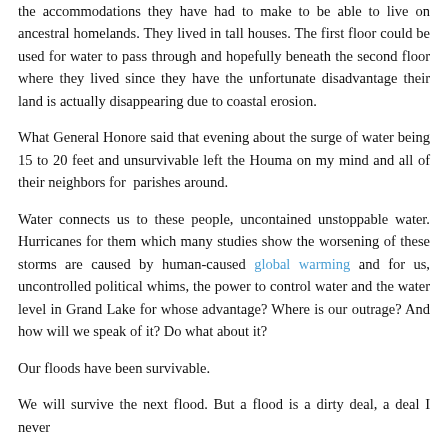the accommodations they have had to make to be able to live on ancestral homelands. They lived in tall houses. The first floor could be used for water to pass through and hopefully beneath the second floor where they lived since they have the unfortunate disadvantage their land is actually disappearing due to coastal erosion.
What General Honore said that evening about the surge of water being 15 to 20 feet and unsurvivable left the Houma on my mind and all of their neighbors for parishes around.
Water connects us to these people, uncontained unstoppable water. Hurricanes for them which many studies show the worsening of these storms are caused by human-caused global warming and for us, uncontrolled political whims, the power to control water and the water level in Grand Lake for whose advantage? Where is our outrage? And how will we speak of it? Do what about it?
Our floods have been survivable.
We will survive the next flood. But a flood is a dirty deal, a deal I never